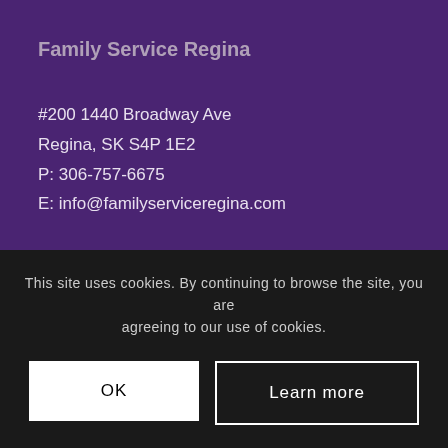Family Service Regina
#200 1440 Broadway Ave
Regina, SK S4P 1E2
P: 306-757-6675
E: info@familyserviceregina.com
Search the site
This site uses cookies. By continuing to browse the site, you are agreeing to our use of cookies.
OK
Learn more